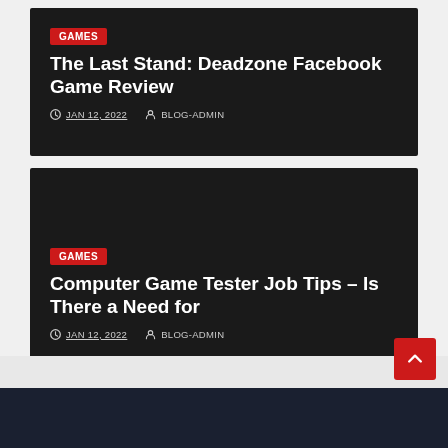GAMES
The Last Stand: Deadzone Facebook Game Review
JAN 12, 2022  BLOG-ADMIN
GAMES
Computer Game Tester Job Tips – Is There a Need for
JAN 12, 2022  BLOG-ADMIN